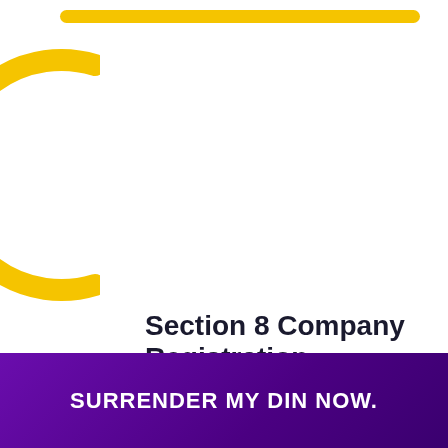[Figure (illustration): Yellow horizontal bar at the top and a yellow C-shaped arc on the left side of the page, decorative design elements]
Section 8 Company Registration
[Figure (illustration): Green WhatsApp circular button icon on the left, and a light green chat bubble saying 'Questions? Let's Chat' next to it]
Learn more →
SURRENDER MY DIN NOW.